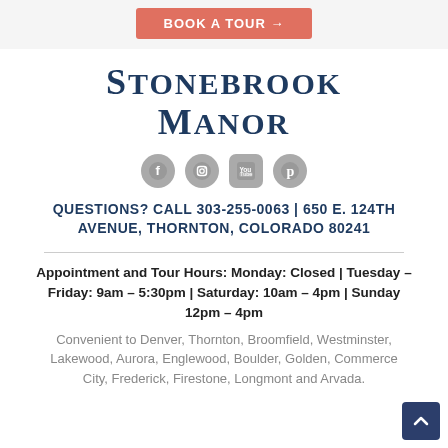BOOK A TOUR →
STONEBROOK MANOR
[Figure (other): Social media icons: Facebook, Instagram, YouTube, Pinterest]
QUESTIONS? CALL 303-255-0063 | 650 E. 124TH AVENUE, THORNTON, COLORADO 80241
Appointment and Tour Hours: Monday: Closed | Tuesday – Friday: 9am – 5:30pm | Saturday: 10am – 4pm | Sunday 12pm – 4pm
Convenient to Denver, Thornton, Broomfield, Westminster, Lakewood, Aurora, Englewood, Boulder, Golden, Commerce City, Frederick, Firestone, Longmont and Arvada.